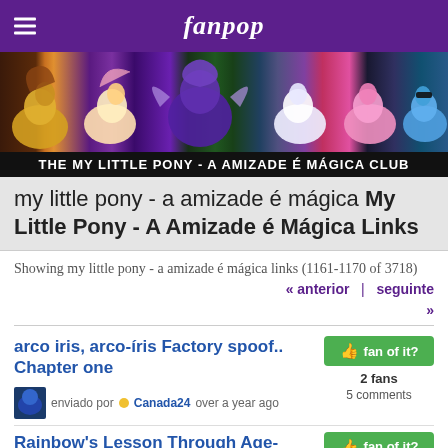fanpop
[Figure (photo): My Little Pony - A Amizade é Mágica characters banner image showing various ponies on a colorful background]
THE MY LITTLE PONY - A AMIZADE É MÁGICA CLUB
my little pony - a amizade é mágica My Little Pony - A Amizade é Mágica Links
Showing my little pony - a amizade é mágica links (1161-1170 of 3718)
« anterior  |  seguinte »
arco iris, arco-íris Factory spoof.. Chapter one
enviado por Canada24 over a year ago
2 fans
5 comments
Rainbow's Lesson Through Age-Regression
arco iris, arco-iris Dash pulls a prank on Princess Twilight on April Fool's Day, and that one backfired-fast!
enviado por Dragon-88 over a year ago
2 fans
1 comment